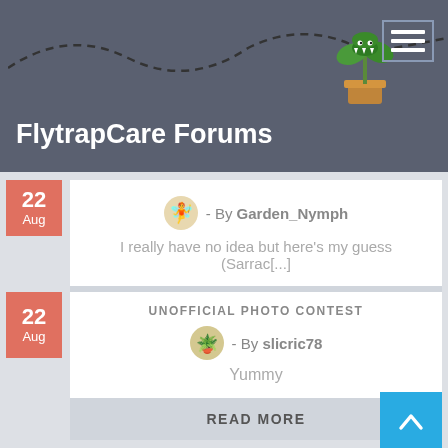FlytrapCare Forums
22 Aug - By Garden_Nymph
I really have no idea but here's my guess (Sarrac[...]
READ MORE
UNOFFICIAL PHOTO CONTEST
22 Aug - By slicric78
Yummy
READ MORE